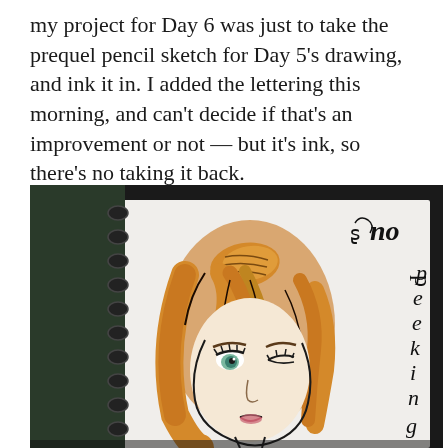my project for Day 6 was just to take the prequel pencil sketch for Day 5's drawing, and ink it in. I added the lettering this morning, and can't decide if that's an improvement or not — but it's ink, so there's no taking it back.
[Figure (photo): A photo of a spiral-bound sketchbook open to a page showing an ink drawing of a girl's face with orange/golden hair swept to the side, one eye visible (teal/green), lips slightly parted and colored pink. On the right side of the page, decorative lettering reads 'no peeking' written vertically in an ornate style. The sketchbook is set against a dark background.]